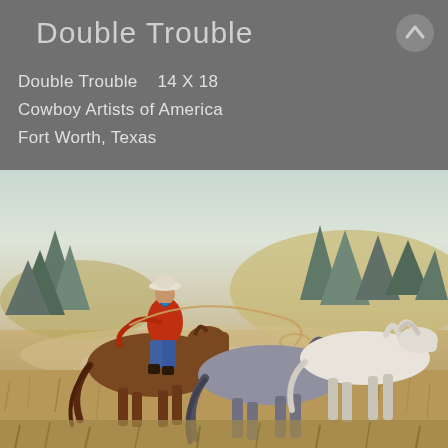Double Trouble
Double Trouble   14 X 18
Cowboy Artists of America
Fort Worth, Texas
[Figure (illustration): Western oil painting titled 'Double Trouble' showing a cowboy in a red shirt and white hat riding a brown horse, using a lasso to lead two running horses — a gray and a white — through a dusty field with pine trees and rolling hills in the background.]